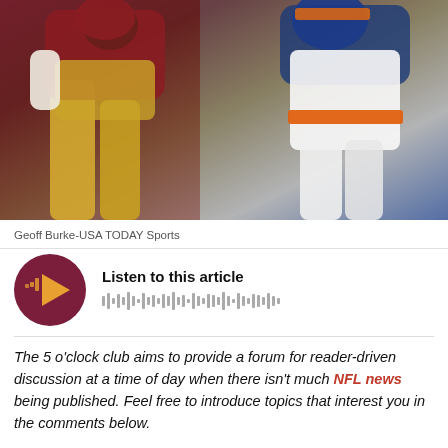[Figure (photo): NFL football game action photo showing a player in yellow/gold Washington Redskins uniform and a player in white Denver Broncos uniform with orange stripe]
Geoff Burke-USA TODAY Sports
[Figure (other): Audio player widget with dark red circular play button and waveform graphic]
Listen to this article
The 5 o'clock club aims to provide a forum for reader-driven discussion at a time of day when there isn't much NFL news being published. Feel free to introduce topics that interest you in the comments below.